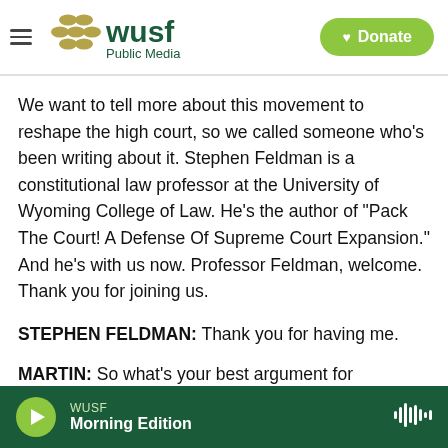WUSF Public Media | Donate
We want to tell more about this movement to reshape the high court, so we called someone who's been writing about it. Stephen Feldman is a constitutional law professor at the University of Wyoming College of Law. He's the author of "Pack The Court! A Defense Of Supreme Court Expansion." And he's with us now. Professor Feldman, welcome. Thank you for joining us.
STEPHEN FELDMAN: Thank you for having me.
MARTIN: So what's your best argument for
WUSF Morning Edition